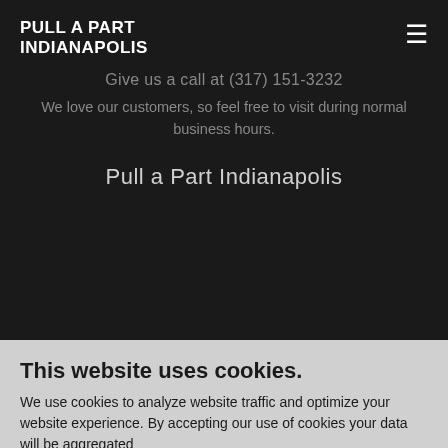PULL A PART INDIANAPOLIS
Give us a call at (317) 151-3232
We love our customers, so feel free to visit during normal business hours.
Pull a Part Indianapolis
This website uses cookies.
We use cookies to analyze website traffic and optimize your website experience. By accepting our use of cookies your data will be aggregated